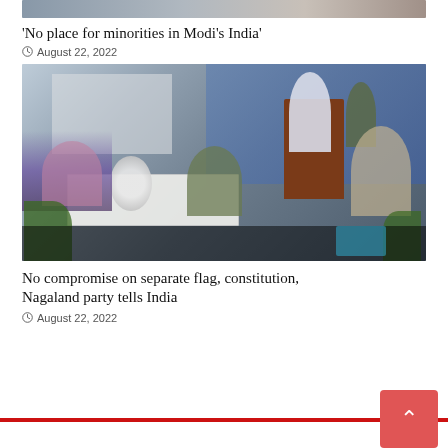[Figure (photo): Top partial image (cropped) showing people in an outdoor or indoor setting]
‘No place for minorities in Modi’s India’
August 22, 2022
[Figure (photo): Indoor event photo showing a person speaking at a wooden podium, with audience members seated at a table with a white tablecloth and a fan, military personnel visible, plants in foreground]
No compromise on separate flag, constitution, Nagaland party tells India
August 22, 2022